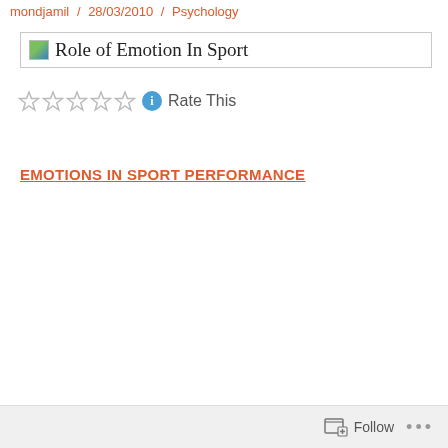mondjamil / 28/03/2010 / Psychology
Role of Emotion In Sport
Rate This
EMOTIONS IN SPORT PERFORMANCE
Follow